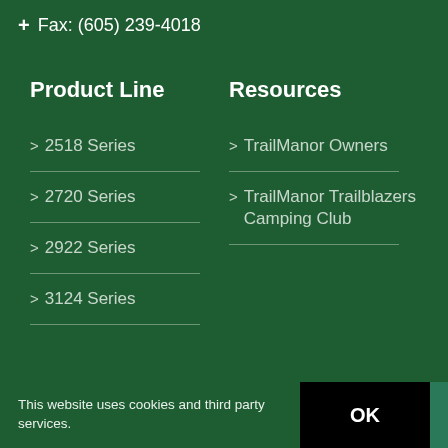+ Fax: (605) 239-4018
Product Line
Resources
> 2518 Series
> TrailManor Owners
> 2720 Series
> TrailManor Trailblazers Camping Club
> 2922 Series
> 3124 Series
This website uses cookies and third party services.